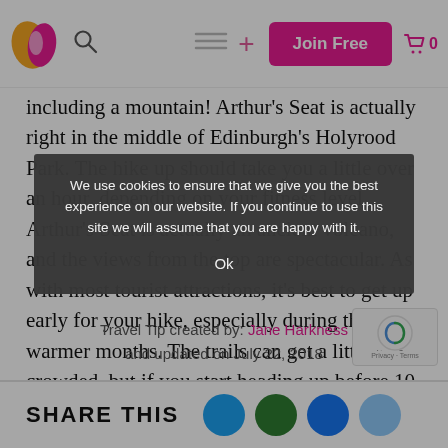Logo | Search | Menu | + | Join Free | Cart 0
including a mountain! Arthur's Seat is actually right in the middle of Edinburgh's Holyrood Park. The hike up should take you a little over an hour, depending on your fitness level. Arthur's Seat is actually an ancient volcano, and the views from the top are spectacular. As with most tourist attractions, it's best to get up early for your hike, especially during the warmer months. The trails can get a little crowded, but if you start heading up before 10 AM, you'll get to enjoy the mountain without too many people around.
Travel Tip created by: Jane Harkness and updated on July 22, 2018
We use cookies to ensure that we give you the best experience on our website. If you continue to use this site we will assume that you are happy with it. Ok
SHARE THIS